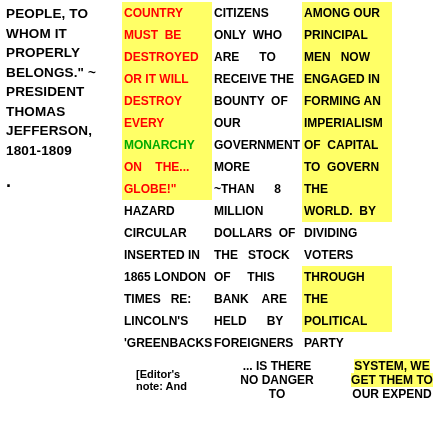PEOPLE, TO WHOM IT PROPERLY BELONGS." ~ PRESIDENT THOMAS JEFFERSON, 1801-1809
COUNTRY MUST BE DESTROYED OR IT WILL DESTROY EVERY MONARCHY ON THE GLOBE!" ~THAN HAZARD Circular INSERTED IN 1865 LONDON TIMES RE:BANK LINCOLN'S HELD BY 'GREENBACKS FOREIGNERS ... IS THERE NO DANGER TO CITIZENS WHO ONLY ARE TO RECEIVE THE BOUNTY OF OUR GOVERNMENT... MORE MILLION DOLLARS OF THE STOCK OF THIS BANK ARE HELD BY FOREIGNERS ... IS THERE NO DANGER TO OUR POLITICAL SYSTEM, WE GET THEM TO OUR EXPEND AMONG OUR PRINCIPAL MEN NOW ENGAGED IN FORMING AN IMPERIALISM OF Capital TO GOVERN THE WORLD. BY DIVIDING VOTERS THROUGH THE POLITICAL PARTY SYSTEM, WE GET THEM TO OUR EXPEND